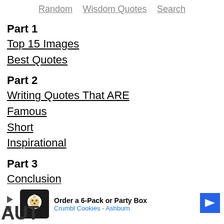Random   Wisdom Quotes   Search
Part 1
Top 15 Images
Best Quotes
Part 2
Writing Quotes That ARE
Famous
Short
Inspirational
Part 3
Conclusion
[Figure (other): Advertisement banner: Order a 6-Pack or Party Box - Crumbl Cookies - Ashburn with navigation arrow icon]
AUT